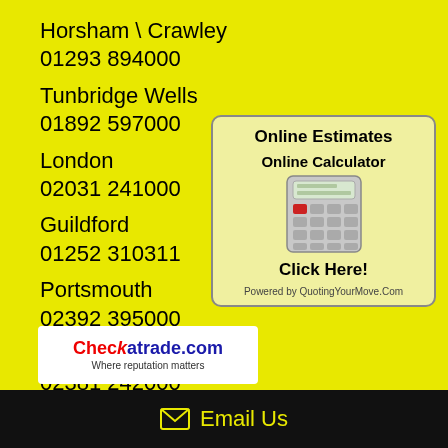Horsham \ Crawley
01293 894000
Tunbridge Wells
01892 597000
London
02031 241000
Guildford
01252 310311
Portsmouth
02392 395000
Southampton
02381 242000
[Figure (infographic): Online Estimates box with Online Calculator heading, calculator image, Click Here! button, and Powered by QuotingYourMove.Com text]
[Figure (logo): Checkatrade.com logo with tagline 'Where reputation matters']
Email Us